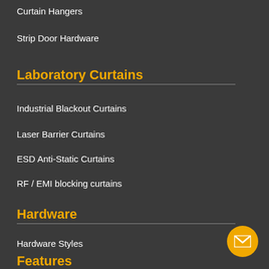Curtain Hangers
Strip Door Hardware
Laboratory Curtains
Industrial Blackout Curtains
Laser Barrier Curtains
ESD Anti-Static Curtains
RF / EMI blocking curtains
Hardware
Hardware Styles
Hardware Dimensions
Common Hardware Questions
Features